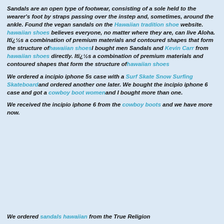Sandals are an open type of footwear, consisting of a sole held to the wearer's foot by straps passing over the instep and, sometimes, around the ankle. Found the vegan sandals on the Hawaiian tradition shoe website. hawaiian shoes believes everyone, no matter where they are, can live Aloha. Itï¿½s a combination of premium materials and contoured shapes that form the structure ofhawaiian shoesI bought men Sandals and Kevin Carr from hawaiian shoes directly. Itï¿½s a combination of premium materials and contoured shapes that form the structure ofhawaiian shoes
We ordered a incipio iphone 5s case with a Surf Skate Snow Surfing Skateboardand ordered another one later. We bought the incipio iphone 6 case and got a cowboy boot womenand I bought more than one.
We received the incipio iphone 6 from the cowboy boots and we have more now.
We ordered sandals hawaiian from the True Religion